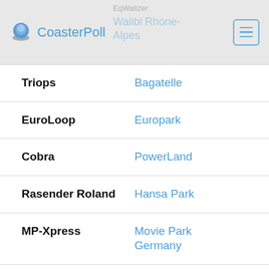EqWalizer | CoasterPoll | Walibi Rhone-Alpes
Triops — Bagatelle
EuroLoop — Europark
Cobra — PowerLand
Rasender Roland — Hansa Park
MP-Xpress — Movie Park Germany
Boomerang — Freizeit-Land Geiselwind
Devil's Mine — Fort Fun Abenteuerland